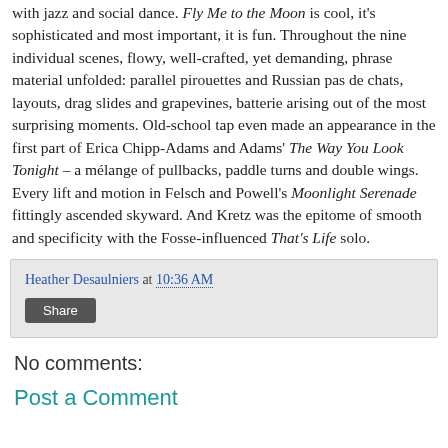with jazz and social dance. Fly Me to the Moon is cool, it's sophisticated and most important, it is fun. Throughout the nine individual scenes, flowy, well-crafted, yet demanding, phrase material unfolded: parallel pirouettes and Russian pas de chats, layouts, drag slides and grapevines, batterie arising out of the most surprising moments. Old-school tap even made an appearance in the first part of Erica Chipp-Adams and Adams' The Way You Look Tonight – a mélange of pullbacks, paddle turns and double wings. Every lift and motion in Felsch and Powell's Moonlight Serenade fittingly ascended skyward. And Kretz was the epitome of smooth and specificity with the Fosse-influenced That's Life solo.
Heather Desaulniers at 10:36 AM
Share
No comments:
Post a Comment